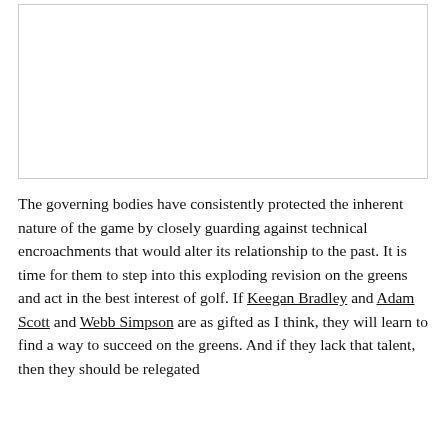[Figure (other): Empty white rectangle with border, likely a placeholder for an image.]
The governing bodies have consistently protected the inherent nature of the game by closely guarding against technical encroachments that would alter its relationship to the past. It is time for them to step into this exploding revision on the greens and act in the best interest of golf. If Keegan Bradley and Adam Scott and Webb Simpson are as gifted as I think, they will learn to find a way to succeed on the greens. And if they lack that talent, then they should be relegated